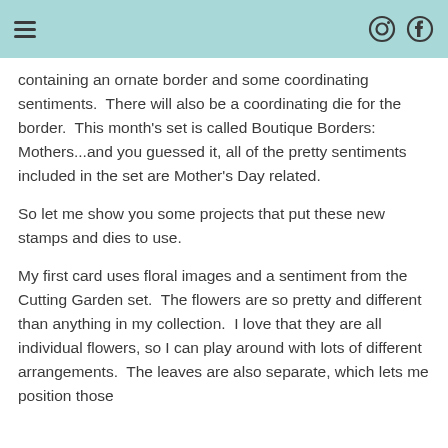containing an ornate border and some coordinating sentiments.  There will also be a coordinating die for the border.  This month's set is called Boutique Borders: Mothers...and you guessed it, all of the pretty sentiments included in the set are Mother's Day related.
So let me show you some projects that put these new stamps and dies to use.
My first card uses floral images and a sentiment from the Cutting Garden set.  The flowers are so pretty and different than anything in my collection.  I love that they are all individual flowers, so I can play around with lots of different arrangements.  The leaves are also separate, which lets me position those